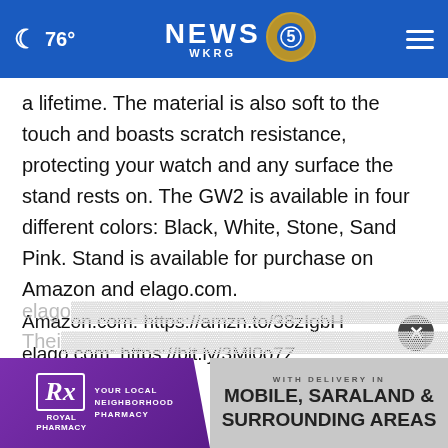76° NEWS 5 WKRG
a lifetime. The material is also soft to the touch and boasts scratch resistance, protecting your watch and any surface the stand rests on. The GW2 is available in four different colors: Black, White, Stone, Sand Pink. Stand is available for purchase on Amazon and elago.com.
Amazon.com: https://amzn.to/38zIgbH
elago.com: https://bit.ly/3Ml0o7Z
elago...st.
Thei...ause
[Figure (screenshot): Royal Rx Pharmacy advertisement banner with text 'WITH DELIVERY IN MOBILE, SARALAND & SURROUNDING AREAS']